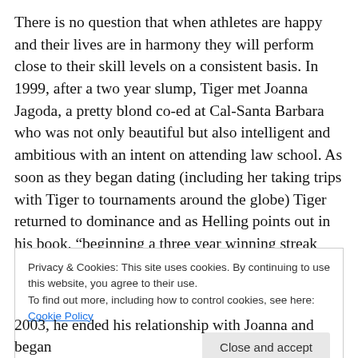There is no question that when athletes are happy and their lives are in harmony they will perform close to their skill levels on a consistent basis. In 1999, after a two year slump, Tiger met Joanna Jagoda, a pretty blond co-ed at Cal-Santa Barbara who was not only beautiful but also intelligent and ambitious with an intent on attending law school. As soon as they began dating (including her taking trips with Tiger to tournaments around the globe) Tiger returned to dominance and as Helling points out in his book, “beginning a three year winning streak that would
Privacy & Cookies: This site uses cookies. By continuing to use this website, you agree to their use.
To find out more, including how to control cookies, see here: Cookie Policy
Close and accept
2003, he ended his relationship with Joanna and began